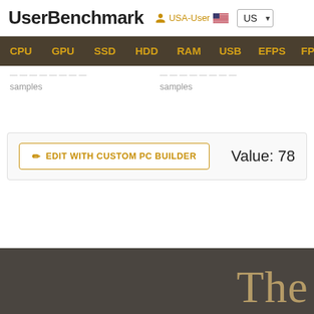UserBenchmark  USA-User  US
CPU  GPU  SSD  HDD  RAM  USB  EFPS  FPS  Sk
samples
samples
✎ EDIT WITH CUSTOM PC BUILDER    Value: 78
The